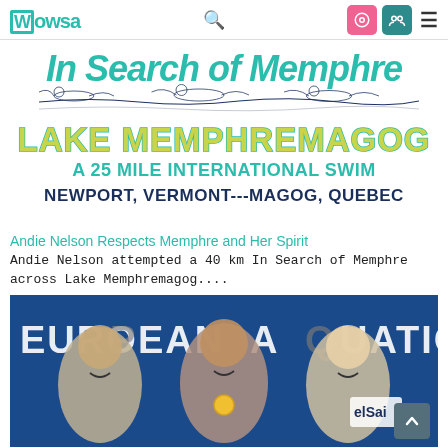WOWSA
[Figure (illustration): In Search of Memphre banner: teal italic text 'In Search of Memphre' with line drawings of swimmers in water, below that 'LAKE MEMPHREMAGOG' in yellow/green block letters with teal outline, 'A 25 MILE INTERNATIONAL SWIM' in teal, 'NEWPORT, VERMONT---MAGOG, QUEBEC' in dark navy bold.]
Andie Nelson Respects Memphre and Her Spirit
Andie Nelson attempted a 40 km In Search of Memphre across Lake Memphremagog....
[Figure (photo): Three male athletes on podium at European Aquatics Championships, smiling and holding medals. Banner in background reads 'EUROPEAN AQUATICS CHA...' with a sponsor logo 'elSai' visible.]